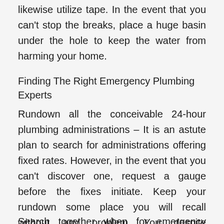likewise utilize tape. In the event that you can't stop the breaks, place a huge basin under the hole to keep the water from harming your home.
Finding The Right Emergency Plumbing Experts
Rundown all the conceivable 24-hour plumbing administrations – It is an astute plan to search for administrations offering fixed rates. However, in the event that you can't discover one, request a gauge before the fixes initiate. Keep your rundown some place you will recall without any problem. You despite everything need to make a paper duplicate on the off chance that you chose to keep the rundown on your cell phone.
Search together when for emergency plumbing